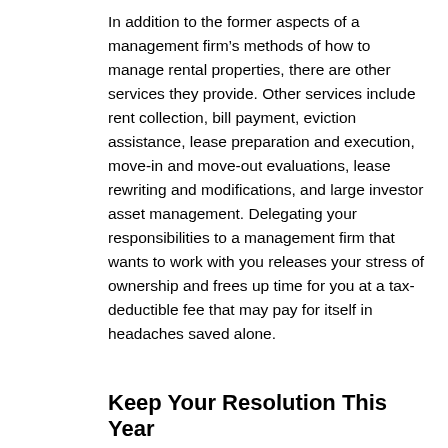In addition to the former aspects of a management firm’s methods of how to manage rental properties, there are other services they provide. Other services include rent collection, bill payment, eviction assistance, lease preparation and execution, move-in and move-out evaluations, lease rewriting and modifications, and large investor asset management. Delegating your responsibilities to a management firm that wants to work with you releases your stress of ownership and frees up time for you at a tax-deductible fee that may pay for itself in headaches saved alone.
Keep Your Resolution This Year